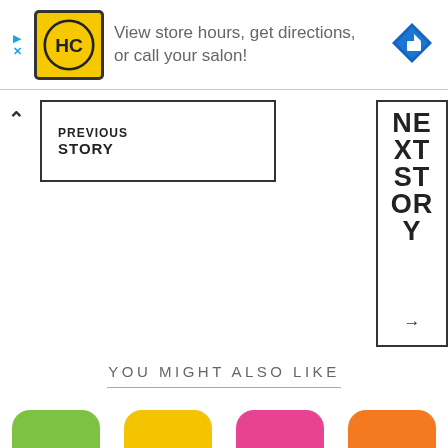[Figure (infographic): Advertisement banner for a hair salon chain (HC logo in yellow, navigation arrow icon). Text: 'View store hours, get directions, or call your salon!']
PREVIOUS STORY
NEXT STORY →
YOU MIGHT ALSO LIKE
[Figure (illustration): Partial view of colorful rounded shapes (green, yellow, pink, orange) at the bottom of the page, suggesting thumbnail images for recommended articles.]